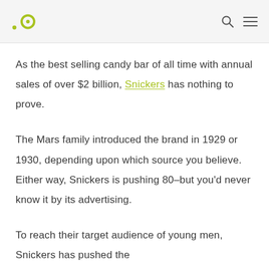.o [logo] [search icon] [menu icon]
As the best selling candy bar of all time with annual sales of over $2 billion, Snickers has nothing to prove.
The Mars family introduced the brand in 1929 or 1930, depending upon which source you believe. Either way, Snickers is pushing 80–but you'd never know it by its advertising.
To reach their target audience of young men, Snickers has pushed the